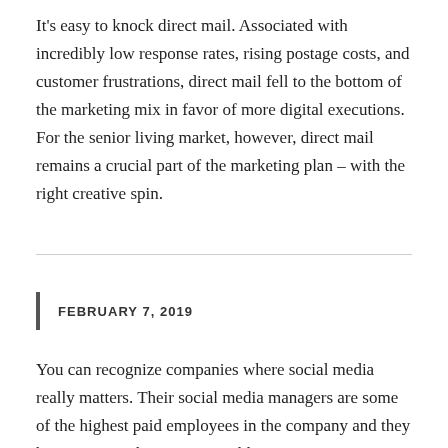It's easy to knock direct mail. Associated with incredibly low response rates, rising postage costs, and customer frustrations, direct mail fell to the bottom of the marketing mix in favor of more digital executions. For the senior living market, however, direct mail remains a crucial part of the marketing plan – with the right creative spin.
FEBRUARY 7, 2019
You can recognize companies where social media really matters. Their social media managers are some of the highest paid employees in the company and they have a seat at the executive table.